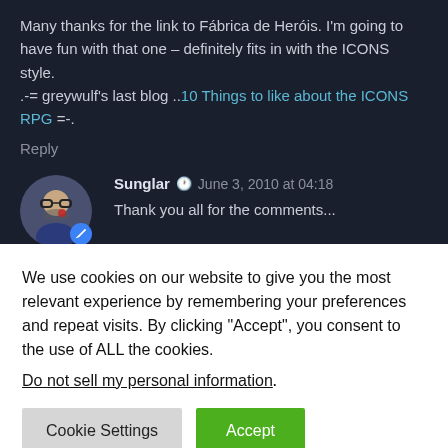Many thanks for the link to Fábrica de Heróis. I'm going to have fun with that one – definitely fits in with the ICONS style. .-= greywulf's last blog ..10 Things to like about the ICONS RPG =-.
Reply
Sunglar  June 3, 2010 at 04:18
Thank you all for the comments...
Daniel, I haven't GMed a supers' game since around 2003. I did play on an excellent Mutants & Masterminds game a friend ran. While it was fun, creating opponents seemed a daunting task and I have put off running a game using the
We use cookies on our website to give you the most relevant experience by remembering your preferences and repeat visits. By clicking "Accept", you consent to the use of ALL the cookies.
Do not sell my personal information.